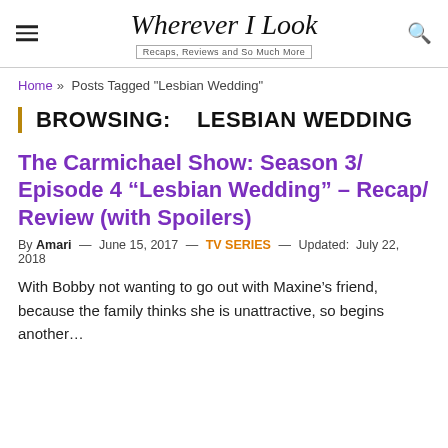Wherever I Look — Recaps, Reviews and So Much More
Home » Posts Tagged "Lesbian Wedding"
BROWSING:   LESBIAN WEDDING
The Carmichael Show: Season 3/ Episode 4 “Lesbian Wedding” – Recap/ Review (with Spoilers)
By Amari — June 15, 2017 — TV SERIES — Updated: July 22, 2018
With Bobby not wanting to go out with Maxine’s friend, because the family thinks she is unattractive, so begins another…